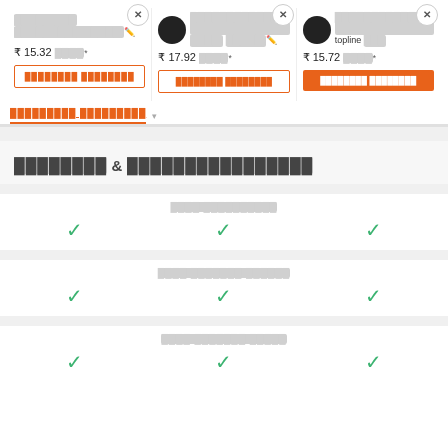[Figure (screenshot): Product comparison UI with three products showing prices in Indian Rupees and add to cart buttons. Below is a features comparison table with checkmarks.]
[Product 1 name in regional script] ₹ 15.32 [unit]*
[Product 2 name in regional script]; [regional script], ₹ 17.92 [unit]*
[Product 3 name in regional script] ... topline [regional script] ₹ 15.72 [unit]*
[Regional script] & [Regional script]
[Feature label 1 in regional script]
[Feature label 2 in regional script]
[Feature label 3 in regional script]